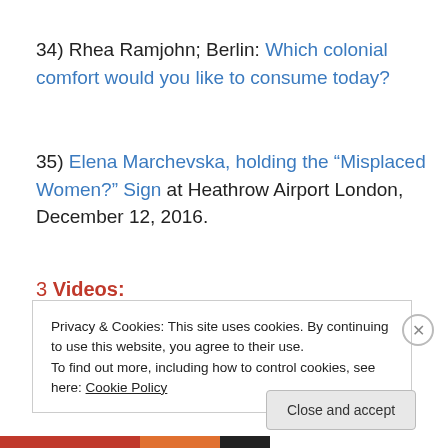34) Rhea Ramjohn; Berlin: Which colonial comfort would you like to consume today?
35) Elena Marchevska, holding the “Misplaced Women?” Sign at Heathrow Airport London, December 12, 2016.
3 Videos:
Privacy & Cookies: This site uses cookies. By continuing to use this website, you agree to their use.
To find out more, including how to control cookies, see here: Cookie Policy